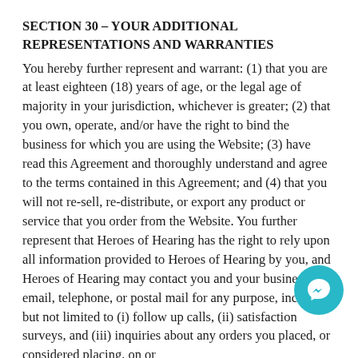SECTION 30 – YOUR ADDITIONAL REPRESENTATIONS AND WARRANTIES
You hereby further represent and warrant: (1) that you are at least eighteen (18) years of age, or the legal age of majority in your jurisdiction, whichever is greater; (2) that you own, operate, and/or have the right to bind the business for which you are using the Website; (3) have read this Agreement and thoroughly understand and agree to the terms contained in this Agreement; and (4) that you will not re-sell, re-distribute, or export any product or service that you order from the Website. You further represent that Heroes of Hearing has the right to rely upon all information provided to Heroes of Hearing by you, and Heroes of Hearing may contact you and your business by email, telephone, or postal mail for any purpose, including but not limited to (i) follow up calls, (ii) satisfaction surveys, and (iii) inquiries about any orders you placed, or considered placing, on or